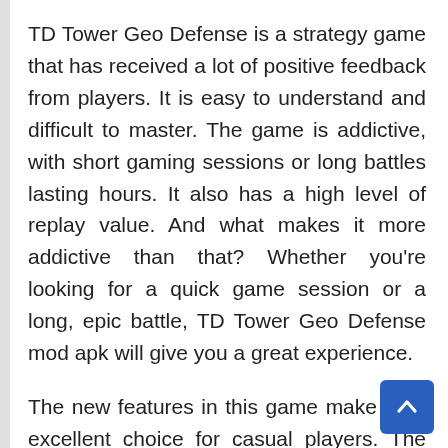TD Tower Geo Defense is a strategy game that has received a lot of positive feedback from players. It is easy to understand and difficult to master. The game is addictive, with short gaming sessions or long battles lasting hours. It also has a high level of replay value. And what makes it more addictive than that? Whether you're looking for a quick game session or a long, epic battle, TD Tower Geo Defense mod apk will give you a great experience.
The new features in this game make it an excellent choice for casual players. The game's high quality graphics, addictive gameplay, and free download make it a great choice for action and strategy fans. Aside from being free, TD Tower Geo Defense mod apk also features new